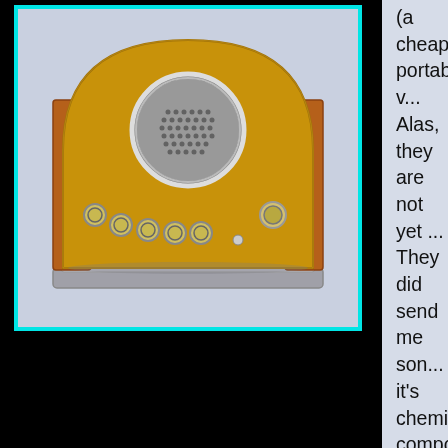[Figure (photo): Vintage art deco radio/device with brass and copper finish, chrome speaker grille, multiple knobs, displayed against a light lavender-blue background, framed with a cyan/teal border.]
(a cheaper, portable v... Alas, they are not yet ... They did send me son... it's chemical composit...
After you've read the b... interested in trying 714... cancer, lupis, or whate... can check it out yours... how to order 714-x ($4... research (and how to ... Canada - 'Galileo of th... use a nebulizer to adm... lymph system).
Here are 2 more sites ...
Scroll to Top
http://www.imbblog.co...